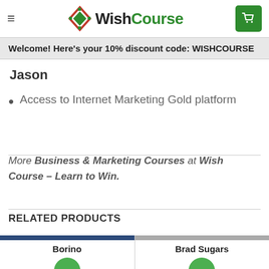Practical sessions and homework for each module.
Worksheets and templates you can use in your business
WishCourse
Welcome! Here's your 10% discount code: WISHCOURSE
Jason
Access to Internet Marketing Gold platform
More Business & Marketing Courses at Wish Course – Learn to Win.
RELATED PRODUCTS
Borino
Brad Sugars